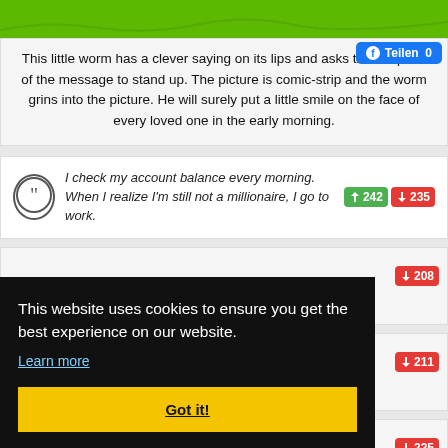[Figure (illustration): Green background with cartoon worm illustration]
This little worm has a clever saying on its lips and asks the recipient of the message to stand up. The picture is comic-strip and the worm grins into the picture. He will surely put a little smile on the face of every loved one in the early morning.
I check my account balance every morning. When I realize I'm still not a millionaire, I go to work.
242 235
208
211
225
This website uses cookies to ensure you get the best experience on our website.
Learn more
Got it!